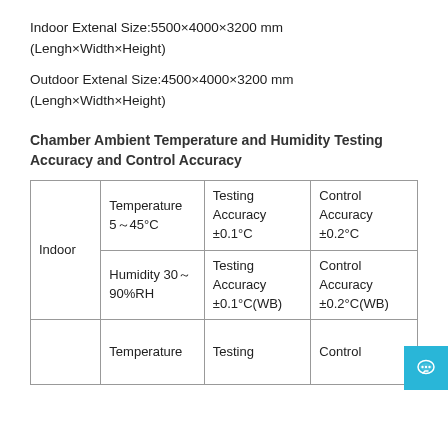Indoor Extenal Size:5500×4000×3200 mm (Lengh×Width×Height)
Outdoor Extenal Size:4500×4000×3200 mm (Lengh×Width×Height)
Chamber Ambient Temperature and Humidity Testing Accuracy and Control Accuracy
|  |  | Testing Accuracy | Control Accuracy |
| --- | --- | --- | --- |
| Indoor | Temperature 5～45°C | Testing Accuracy ±0.1°C | Control Accuracy ±0.2°C |
| Indoor | Humidity 30～90%RH | Testing Accuracy ±0.1°C(WB) | Control Accuracy ±0.2°C(WB) |
|  | Temperature | Testing | Control |